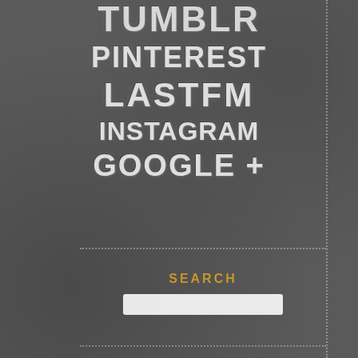[Figure (illustration): Chalkboard-style graphic listing social media platform names: TUMBLR, PINTEREST, LASTFM, INSTAGRAM, GOOGLE+, with a SEARCH label and search input box. Dotted border lines frame the content area on a dark grey textured background.]